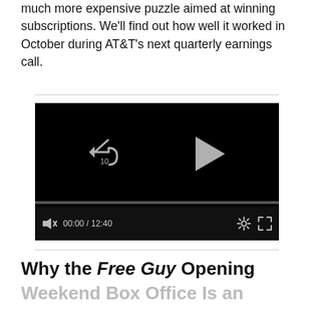much more expensive puzzle aimed at winning subscriptions. We'll find out how well it worked in October during AT&T's next quarterly earnings call.
[Figure (screenshot): Embedded video player showing a dark/black screen with playback controls: rewind 10 seconds button, play button in center, progress bar, mute button, time display 00:00 / 12:40, settings gear icon, and fullscreen icon.]
Why the Free Guy Opening Weekend Box Office Is an